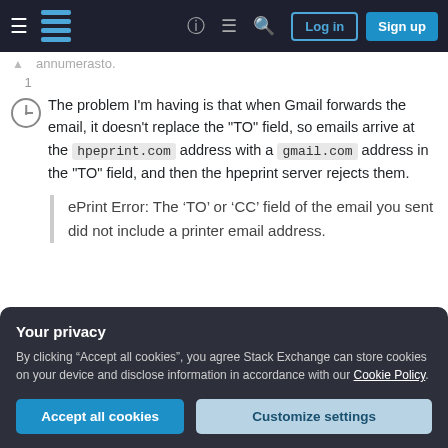Stack Exchange navigation bar with Log in and Sign up buttons
The problem I'm having is that when Gmail forwards the email, it doesn't replace the "TO" field, so emails arrive at the hpeprint.com address with a gmail.com address in the "TO" field, and then the hpeprint server rejects them.
ePrint Error: The ‘TO’ or ‘CC’ field of the email you sent did not include a printer email address.
Your privacy
By clicking “Accept all cookies”, you agree Stack Exchange can store cookies on your device and disclose information in accordance with our Cookie Policy.
Accept all cookies
Customize settings